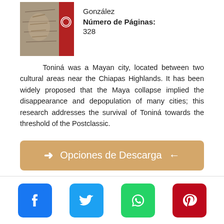[Figure (photo): Book cover image showing a carved Mayan stone relief with a red spine and academic press logo]
González
Número de Páginas: 328
Toniná was a Mayan city, located between two cultural areas near the Chiapas Highlands. It has been widely proposed that the Maya collapse implied the disappearance and depopulation of many cities; this research addresses the survival of Toniná towards the threshold of the Postclassic.
➜ Opciones de Descarga ←
[Figure (logo): Facebook social media icon button (blue)]
[Figure (logo): Twitter social media icon button (light blue)]
[Figure (logo): WhatsApp social media icon button (green)]
[Figure (logo): Pinterest social media icon button (red)]